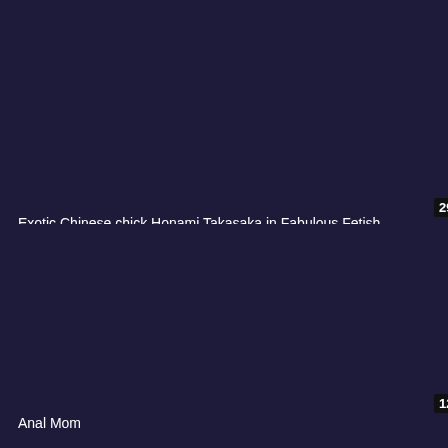[Figure (screenshot): Dark navy/purple video thumbnail placeholder, top half of page]
29:05
Exotic Chinese chick Honami Takasaka in Fabulous Fetish, Secretary JAV movie
[Figure (screenshot): Dark navy/purple video thumbnail placeholder, bottom half of page]
12:45
Anal Mom